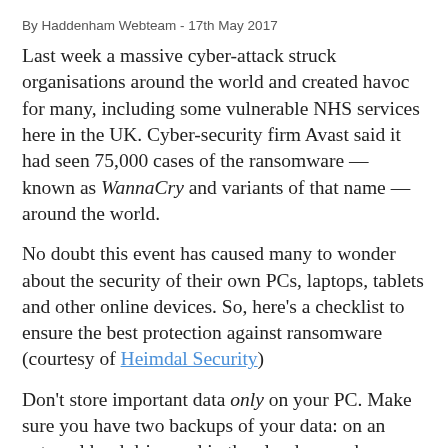By Haddenham Webteam - 17th May 2017
Last week a massive cyber-attack struck organisations around the world and created havoc for many, including some vulnerable NHS services here in the UK. Cyber-security firm Avast said it had seen 75,000 cases of the ransomware — known as WannaCry and variants of that name — around the world.
No doubt this event has caused many to wonder about the security of their own PCs, laptops, tablets and other online devices. So, here's a checklist to ensure the best protection against ransomware (courtesy of Heimdal Security)
Don't store important data only on your PC. Make sure you have two backups of your data: on an external hard drive and in the cloud — such as